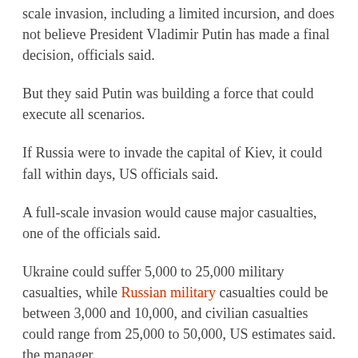scale invasion, including a limited incursion, and does not believe President Vladimir Putin has made a final decision, officials said.
But they said Putin was building a force that could execute all scenarios.
If Russia were to invade the capital of Kiev, it could fall within days, US officials said.
A full-scale invasion would cause major casualties, one of the officials said.
Ukraine could suffer 5,000 to 25,000 military casualties, while Russian military casualties could be between 3,000 and 10,000, and civilian casualties could range from 25,000 to 50,000, US estimates said. the manager.
A full invasion would also cause millions of refugees and